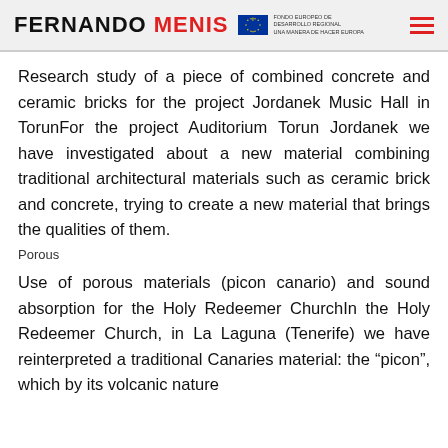FERNANDO MENIS — EU logo — Fondo Europeo de Desarrollo Regional Una Manera de Hacer Europa
Research study of a piece of combined concrete and ceramic bricks for the project Jordanek Music Hall in TorunFor the project Auditorium Torun Jordanek we have investigated about a new material combining traditional architectural materials such as ceramic brick and concrete, trying to create a new material that brings the qualities of them.
Porous
Use of porous materials (picon canario) and sound absorption for the Holy Redeemer ChurchIn the Holy Redeemer Church, in La Laguna (Tenerife) we have reinterpreted a traditional Canaries material: the “picon”, which by its volcanic nature